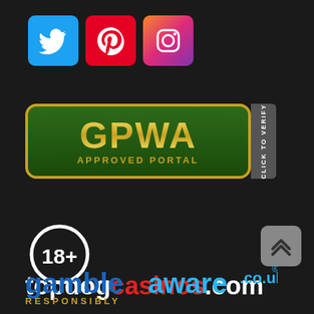[Figure (logo): Three social media icons: Twitter (blue), Pinterest (red), Instagram (gradient pink/orange) arranged horizontally]
[Figure (logo): GPWA Approved Portal badge with gold border, green background, gold GPWA text, and a 'Click to Verify' side tab]
[Figure (logo): 18+ age restriction symbol: circle with 18+ text in white on dark background]
[Figure (logo): topdogcasinos.com logo with 'topdog' in white, 'casinos' in red, '.com' in white]
[Figure (logo): Scroll-to-top button, grey rounded square with double chevron up arrows]
[Figure (logo): GambleAware.co.uk logo in blue, with tagline RESPONSIBLY partially visible]